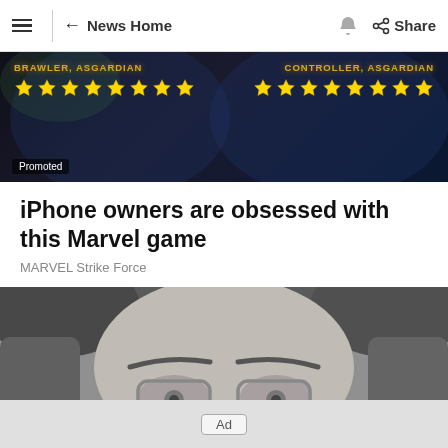≡  ← News Home  🔔  < Share
[Figure (screenshot): Marvel Strike Force game advertisement banner with 'BRAWLER, ASGARDIAN' on the left with 8 gold stars and 'CONTROLLER, ASGARDIAN' on the right with 8 gold stars, dark sci-fi background. 'Promoted' tag bottom left.]
iPhone owners are obsessed with this Marvel game
MARVEL Strike Force
[Figure (photo): Grayscale close-up photo of a person with glasses and long hair, eyes visible through round wire-frame glasses. Close-up/cropped view. X (close) button in bottom right.]
Ad